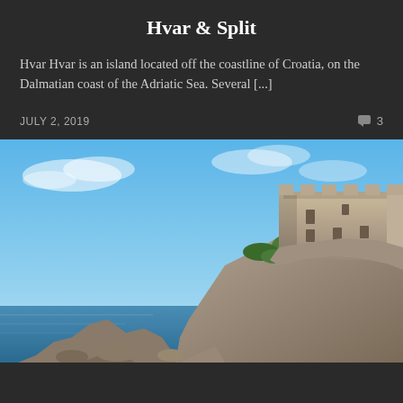Hvar & Split
Hvar Hvar is an island located off the coastline of Croatia, on the Dalmatian coast of the Adriatic Sea. Several [...]
JULY 2, 2019   3
[Figure (photo): A stone fortress/castle built atop a rocky cliff rising from the Adriatic Sea, with lush green vegetation on the cliff face, under a bright blue sky with light clouds. The scene depicts the Lovrijenac fortress near Dubrovnik, Croatia.]